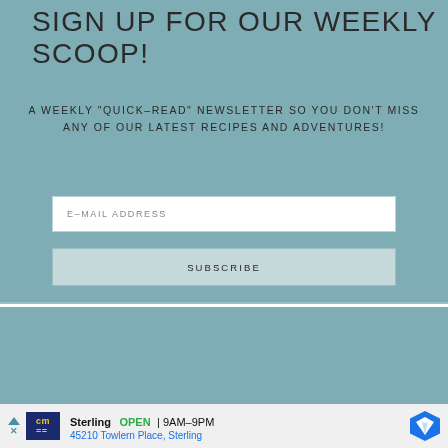SIGN UP FOR OUR WEEKLY SCOOP!
A WEEKLY "QUICK-READ" NEWSLETTER SO YOU DON'T MISS ANY OF OUR LATEST RECIPES AND ADVENTURES!
E-MAIL ADDRESS
SUBSCRIBE
[Figure (other): Teal/blue-grey colored rectangular banner section]
Sterling  OPEN | 9AM–9PM  45210 Towlern Place, Sterling